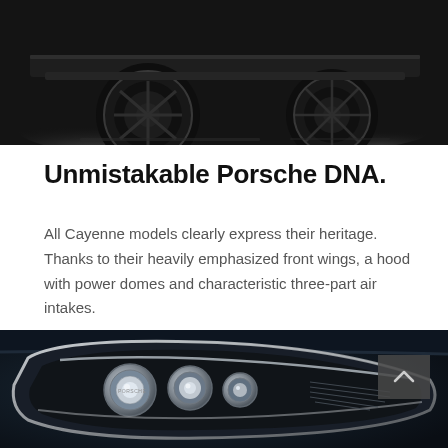[Figure (photo): Partial rear view of a dark Porsche Cayenne on a dark studio floor, showing rear wheels and underside of the vehicle with dramatic lighting.]
Unmistakable Porsche DNA.
All Cayenne models clearly express their heritage. Thanks to their heavily emphasized front wings, a hood with power domes and characteristic three-part air intakes.
[Figure (photo): Close-up of a Porsche Cayenne headlight unit showing complex multi-element LED/xenon lamp design with chrome trim surround on dark navy background. A dark semi-transparent navigation button with an upward chevron arrow is overlaid in the upper right corner of the image.]